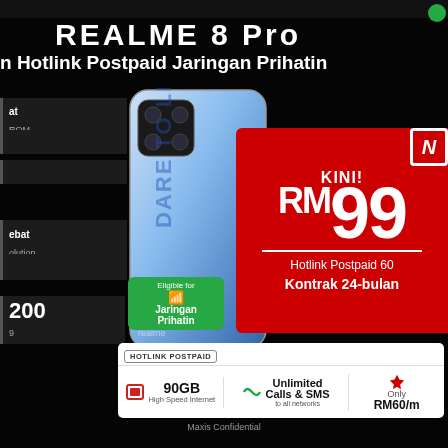REALME 8 Pro
n Hotlink Postpaid Jaringan Prihatin
[Figure (photo): Realme 8 Pro smartphone in blue color with 'Dare to Leap' text on the back, showing quad camera setup. Green badge overlay reads 'Eligible for Jaringan Prihatin' with WiFi icon.]
KINI!
RM99
Hotlink Postpaid 60
Kontrak 24-bulan
at
ROM
ebat
olution
200
9
HOTLINK POSTPAID
90GB
High Speed Internet
Unlimited Calls & SMS
to all networks
Only
RM60/m
Maxis Confidential